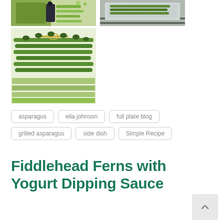[Figure (photo): Top-left photo: asparagus with a dark kitchen utensil on white background]
[Figure (photo): Top-right photo: asparagus on a grill wrapped in foil]
[Figure (photo): Bottom-left large photo: fresh asparagus bundles tied with string on white background]
asparagus
eila johnson
full plate blog
grilled asparagus
side dish
Simple Recipe
Fiddlehead Ferns with Yogurt Dipping Sauce